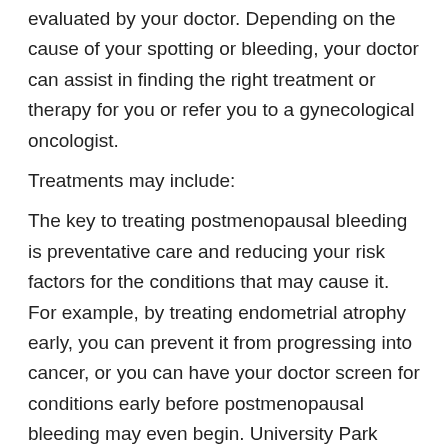evaluated by your doctor. Depending on the cause of your spotting or bleeding, your doctor can assist in finding the right treatment or therapy for you or refer you to a gynecological oncologist.
Treatments may include:
The key to treating postmenopausal bleeding is preventative care and reducing your risk factors for the conditions that may cause it. For example, by treating endometrial atrophy early, you can prevent it from progressing into cancer, or you can have your doctor screen for conditions early before postmenopausal bleeding may even begin. University Park OBGYN recommends maintaining a healthy diet, regular exercise routine, and yearly visits to the doctor to prevent various health conditions and complications.
Also Check: Is Dizziness A Symptom Of Perimenopause